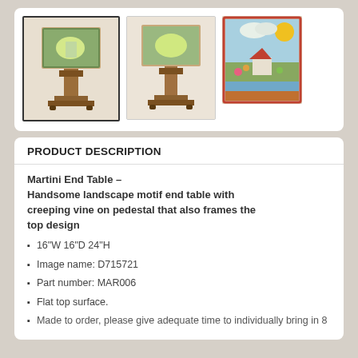[Figure (photo): Three product images of a Martini End Table with painted landscape motif. First image shows full table with decorative top and pedestal, with border highlight. Second image shows similar side view of table. Third image shows close-up of the painted top surface featuring a house, sun, and nature scene.]
PRODUCT DESCRIPTION
Martini End Table – Handsome landscape motif end table with creeping vine on pedestal that also frames the top design
16"W 16"D 24"H
Image name: D715721
Part number: MAR006
Flat top surface.
Made to order, please give adequate time to individually bring in 8